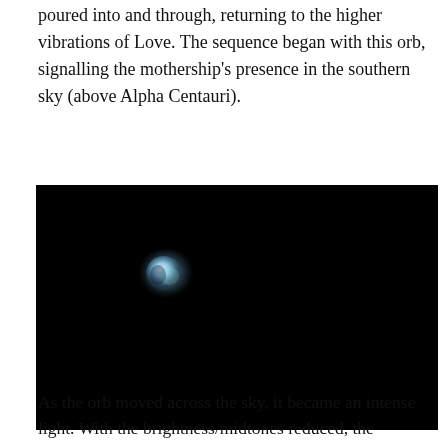poured into and through, returning to the higher vibrations of Love. The sequence began with this orb, signalling the mothership's presence in the southern sky (above Alpha Centauri).
[Figure (photo): A black nighttime sky photograph showing a small glowing orb with blue-green iridescent colors, positioned in the upper-left area of the frame against a completely black background.]
As the orb moved across the sky, it became an intense light. With the brightness/midtones reduced, the feminine form of Irene can be subtly seen on the right, defining a